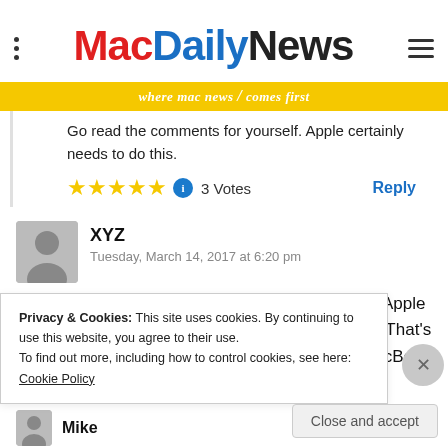MacDailyNews — where mac news comes first
Go read the comments for yourself. Apple certainly needs to do this.
[Figure (other): Five yellow star rating icons followed by a blue info circle icon, and '3 Votes' text, with a 'Reply' link]
XYZ
Tuesday, March 14, 2017 at 6:20 pm
Apple does understand its customers, however; Apple wants another stream revenues for its business. That's all there is to it. I am perfectly happy with the MacBook
Privacy & Cookies: This site uses cookies. By continuing to use this website, you agree to their use. To find out more, including how to control cookies, see here: Cookie Policy
Close and accept
Mike